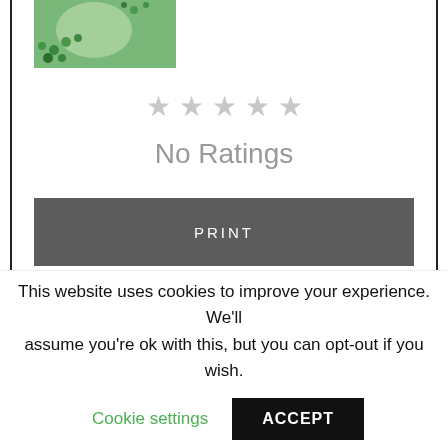[Figure (photo): Partial view of a recipe photo showing a green-colored dish or dessert with green bead decorations on a wooden surface]
[Figure (other): Five empty/unfilled star rating icons in light gray]
No Ratings
PRINT
Ingredients
Ingredients
2.5 con...
This website uses cookies to improve your experience. We'll assume you're ok with this, but you can opt-out if you wish.
Cookie settings
ACCEPT